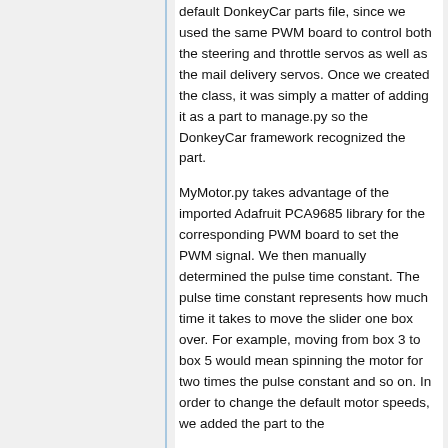default DonkeyCar parts file, since we used the same PWM board to control both the steering and throttle servos as well as the mail delivery servos. Once we created the class, it was simply a matter of adding it as a part to manage.py so the DonkeyCar framework recognized the part.
MyMotor.py takes advantage of the imported Adafruit PCA9685 library for the corresponding PWM board to set the PWM signal. We then manually determined the pulse time constant. The pulse time constant represents how much time it takes to move the slider one box over. For example, moving from box 3 to box 5 would mean spinning the motor for two times the pulse constant and so on. In order to change the default motor speeds, we added the part to the